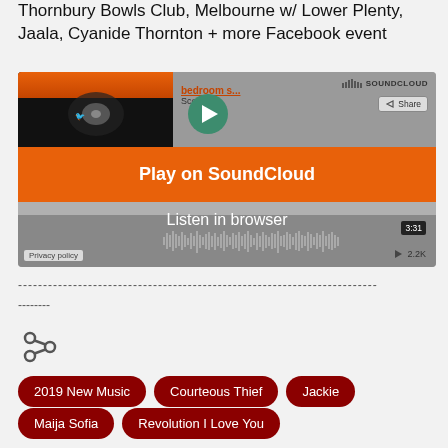Thornbury Bowls Club, Melbourne w/ Lower Plenty, Jaala, Cyanide Thornton + more Facebook event
[Figure (screenshot): SoundCloud embedded player showing 'bedroom s...' track by Scott & with Play on SoundCloud button and Listen in browser option. Duration 3:31, 2.2K plays. Privacy policy link visible.]
------------------------------------------------------------------------
--------
[Figure (other): Share icon (less-than symbol with dots)]
2019 New Music
Courteous Thief
Jackie
Maija Sofia
Revolution I Love You